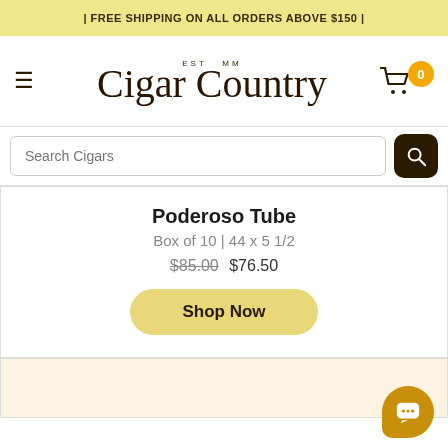| FREE SHIPPING ON ALL ORDERS ABOVE $150 |
[Figure (logo): Cigar Country logo with 'EST MM' above in small caps and cursive 'Cigar Country' text, with hamburger menu icon on left and shopping cart with badge '0' on right]
Search Cigars
Poderoso Tube
Box of 10 | 44 x 5 1/2
$85.00 $76.50
Shop Now